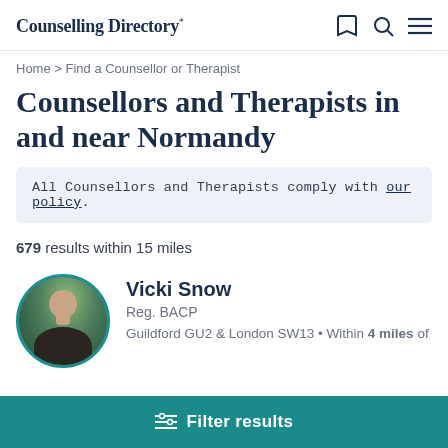Counselling Directory*
Home > Find a Counsellor or Therapist
Counsellors and Therapists in and near Normandy
All Counsellors and Therapists comply with our policy.
679 results within 15 miles
Vicki Snow
Reg. BACP
Guildford GU2 & London SW13 • Within 4 miles of
Filter results